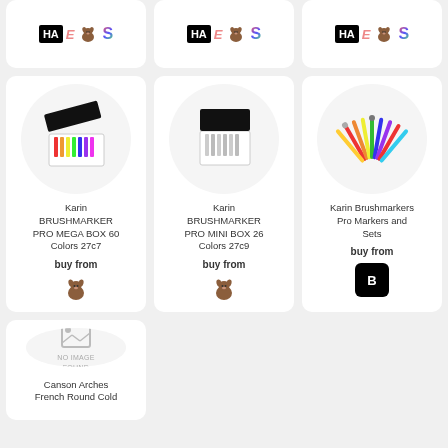[Figure (infographic): Three product cards in top row, each showing logos: HA (black box), E (stylized), dog icon, S (colorful). Cards cropped at top.]
[Figure (infographic): Second row: three product cards. First: Karin BRUSHMARKER PRO MEGA BOX 60 Colors 27c7 with marker box image, buy from, dog icon. Second: Karin BRUSHMARKER PRO MINI BOX 26 Colors 27c9 with marker box image, buy from, dog icon. Third: Karin Brushmarkers Pro Markers and Sets with markers fan image, buy from, B button.]
[Figure (infographic): Bottom partial card: Canson Arches French Round Cold - no image found placeholder.]
Karin BRUSHMARKER PRO MEGA BOX 60 Colors 27c7
buy from
Karin BRUSHMARKER PRO MINI BOX 26 Colors 27c9
buy from
Karin Brushmarkers Pro Markers and Sets
buy from
NO IMAGE FOUND
Canson Arches French Round Cold